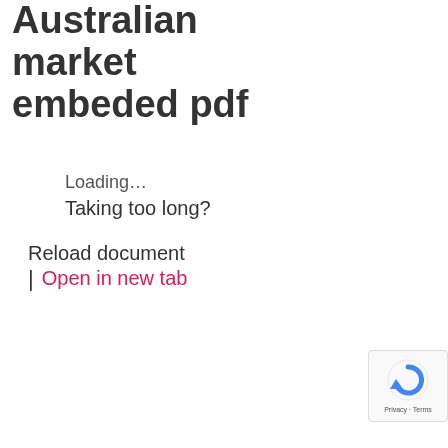Australian market embeded pdf
Loading…
Taking too long?
Reload document
| Open in new tab
[Figure (other): reCAPTCHA badge with Privacy and Terms text]